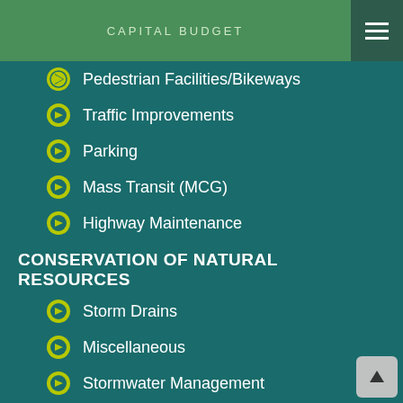CAPITAL BUDGET
Pedestrian Facilities/Bikeways
Traffic Improvements
Parking
Mass Transit (MCG)
Highway Maintenance
CONSERVATION OF NATURAL RESOURCES
Storm Drains
Miscellaneous
Stormwater Management
Natural Water Way Improvements
Ag Land Preservation